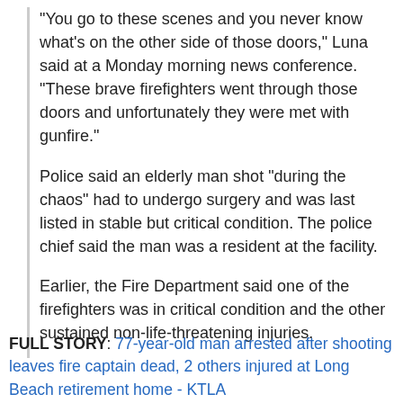"You go to these scenes and you never know what's on the other side of those doors," Luna said at a Monday morning news conference. "These brave firefighters went through those doors and unfortunately they were met with gunfire."
Police said an elderly man shot "during the chaos" had to undergo surgery and was last listed in stable but critical condition. The police chief said the man was a resident at the facility.
Earlier, the Fire Department said one of the firefighters was in critical condition and the other sustained non-life-threatening injuries.
FULL STORY: 77-year-old man arrested after shooting leaves fire captain dead, 2 others injured at Long Beach retirement home - KTLA